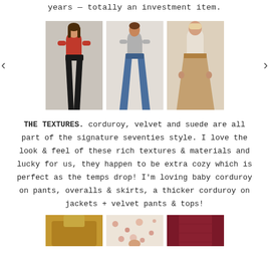years — totally an investment item.
[Figure (photo): Carousel of three fashion photos showing women wearing flare pants: black flare pants with red top, blue denim flare jeans, and tan/camel wide-leg corduroy pants. Left and right navigation arrows visible.]
THE TEXTURES. corduroy, velvet and suede are all part of the signature seventies style. I love the look & feel of these rich textures & materials and lucky for us, they happen to be extra cozy which is perfect as the temps drop! I'm loving baby corduroy on pants, overalls & skirts, a thicker corduroy on jackets + velvet pants & tops!
[Figure (photo): Bottom row of three fashion photos partially visible: left shows a caramel/tan jacket, middle shows a floral print garment, right shows a dark burgundy/wine colored skirt.]